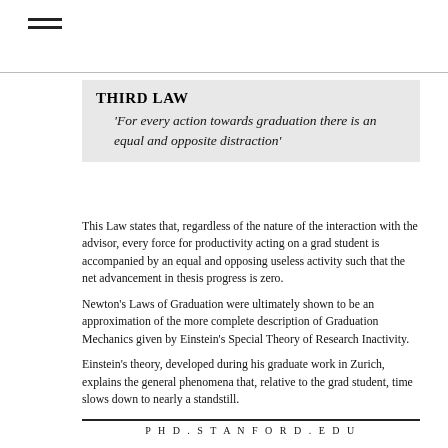[Figure (other): Hamburger menu icon with three horizontal lines in upper left corner]
THIRD LAW
'For every action towards graduation there is an equal and opposite distraction'
This Law states that, regardless of the nature of the interaction with the advisor, every force for productivity acting on a grad student is accompanied by an equal and opposing useless activity such that the net advancement in thesis progress is zero.
Newton's Laws of Graduation were ultimately shown to be an approximation of the more complete description of Graduation Mechanics given by Einstein's Special Theory of Research Inactivity.
Einstein's theory, developed during his graduate work in Zurich, explains the general phenomena that, relative to the grad student, time slows down to nearly a standstill.
PHD.STANFORD.EDU